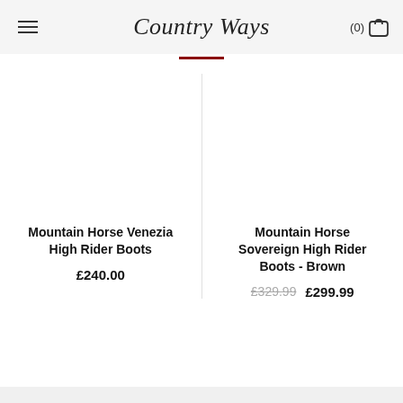Country Ways
Mountain Horse Venezia High Rider Boots £240.00
Mountain Horse Sovereign High Rider Boots - Brown £329.99 £299.99